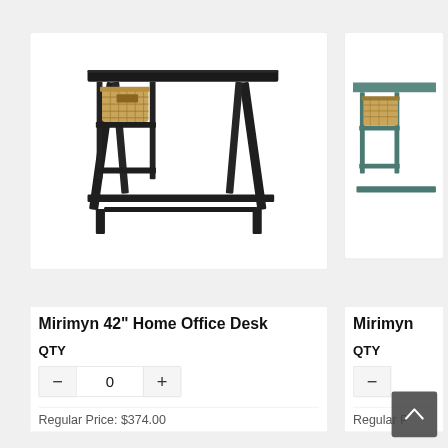[Figure (photo): Black Mirimyn 42-inch home office desk with A-frame legs, a wicker basket on a shelf on the left side, and a lower shelf. Photographed on white background.]
Mirimyn 42" Home Office Desk
QTY
- 0 +
Regular Price: $374.00
[Figure (photo): Partially visible teal/green Mirimyn desk with wicker basket on shelf, same style as the black desk on the left.]
Mirimyn
QTY
- [quantity input]
Regular P